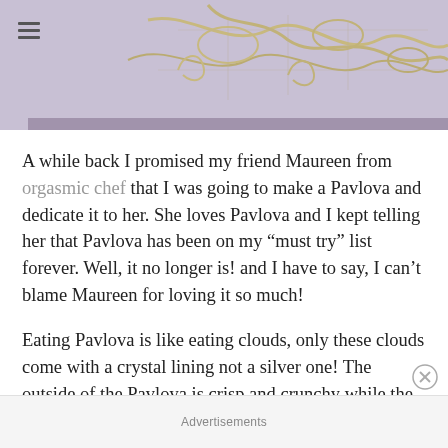[Figure (photo): Top portion of a decorative ornament or jewelry piece with silver filigree design on a purple/lavender background. A hamburger menu icon appears in the top-left corner.]
A while back I promised my friend Maureen from orgasmic chef that I was going to make a Pavlova and dedicate it to her. She loves Pavlova and I kept telling her that Pavlova has been on my “must try” list forever. Well, it no longer is! and I have to say, I can’t blame Maureen for loving it so much!
Eating Pavlova is like eating clouds, only these clouds come with a crystal lining not a silver one! The outside of the Pavlova is crisp and crunchy while the inside is soft and marshmallow like. To perfectly compliment the meringue clouds, the topping is a combination of velvety cream and fruits. The fruit topping not only adds a beautiful color and makes for an elegant presentation but they also help balance
Advertisements